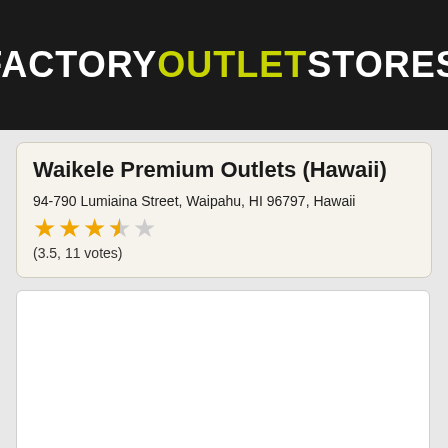[Figure (logo): FactoryOutletStores.info website logo with white and yellow-green text on dark background]
Waikele Premium Outlets (Hawaii)
94-790 Lumiaina Street, Waipahu, HI 96797, Hawaii
(3.5, 11 votes)
[Figure (other): Map placeholder area, white box]
Outlet mall's name: